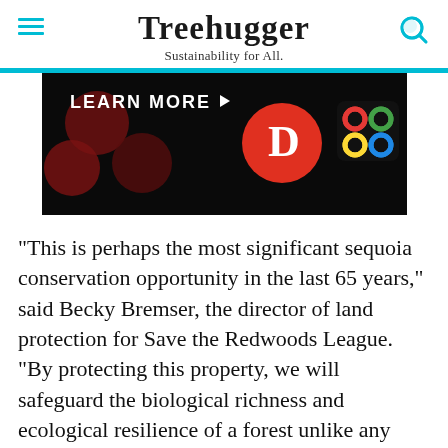Treehugger — Sustainability for All.
[Figure (photo): Advertisement banner with dark background showing 'LEARN MORE' text, a red circle logo with letter D, and a colorful Celtic knot pattern logo]
"This is perhaps the most significant sequoia conservation opportunity in the last 65 years," said Becky Bremser, the director of land protection for Save the Redwoods League. "By protecting this property, we will safeguard the biological richness and ecological resilience of a forest unlike any other on Earth – with giant sequoia trees that are thousands of years old, and
[Figure (photo): Dotdash Meredith advertisement banner: 'We help people find answers, solve problems and get inspired.' with D logo and Dotdash meredith branding]